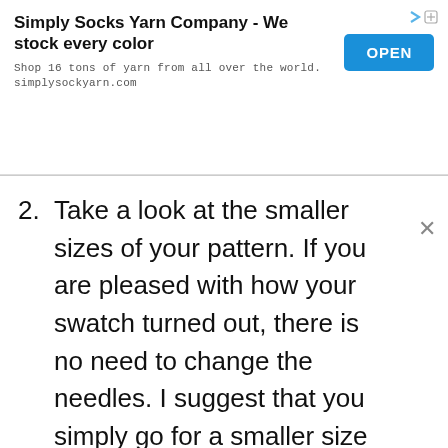[Figure (screenshot): Advertisement banner for Simply Socks Yarn Company with title, subtitle, and OPEN button]
2. Take a look at the smaller sizes of your pattern. If you are pleased with how your swatch turned out, there is no need to change the needles. I suggest that you simply go for a smaller size in the pattern instead. But first, we have to do some calculating!